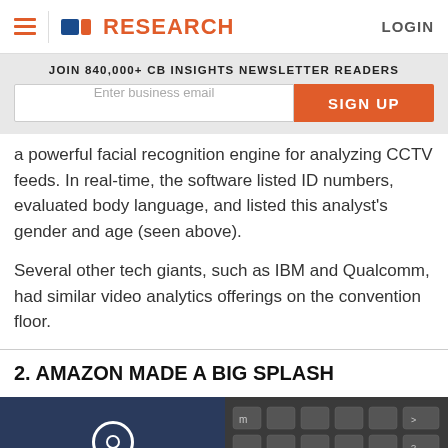CB INSIGHTS RESEARCH | LOGIN
JOIN 840,000+ CB INSIGHTS NEWSLETTER READERS
a powerful facial recognition engine for analyzing CCTV feeds. In real-time, the software listed ID numbers, evaluated body language, and listed this analyst's gender and age (seen above).
Several other tech giants, such as IBM and Qualcomm, had similar video analytics offerings on the convention floor.
2. AMAZON MADE A BIG SPLASH
[Figure (photo): Photo of Amazon Alexa device (blue cylindrical speaker) and a keyboard closeup]